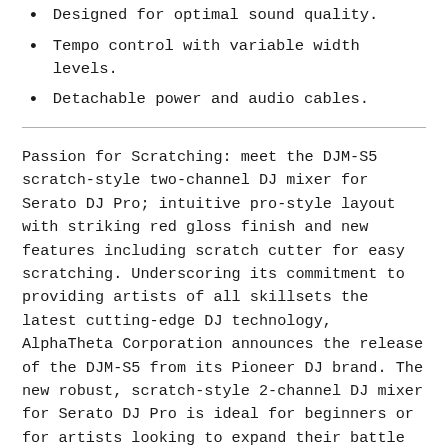Designed for optimal sound quality.
Tempo control with variable width levels.
Detachable power and audio cables.
Passion for Scratching: meet the DJM-S5 scratch-style two-channel DJ mixer for Serato DJ Pro; intuitive pro-style layout with striking red gloss finish and new features including scratch cutter for easy scratching. Underscoring its commitment to providing artists of all skillsets the latest cutting-edge DJ technology, AlphaTheta Corporation announces the release of the DJM-S5 from its Pioneer DJ brand. The new robust, scratch-style 2-channel DJ mixer for Serato DJ Pro is ideal for beginners or for artists looking to expand their battle mixing and scratching skills. The DJM-S5 inherits a familiar layout to the flagship DJM-S11 two-channel scratch style DJ mixer and features a vibrant red-glossy design revealing the ornate construction of Pioneer DJ's MAGVEL FADER PRO. The large effect levers on the